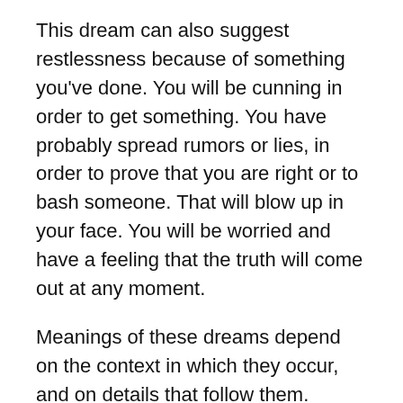This dream can also suggest restlessness because of something you've done. You will be cunning in order to get something. You have probably spread rumors or lies, in order to prove that you are right or to bash someone. That will blow up in your face. You will be worried and have a feeling that the truth will come out at any moment.
Meanings of these dreams depend on the context in which they occur, and on details that follow them.
Dreaming of watching ballet in a theater or some bigger concert hall means that you will be in the right place at the right time. It is possible that you will have an encounter with an influential person who could help you find a job or change the existing one. You will have a completely new perspective and realize that it is the right time to use your knowledge, talents and effort to make